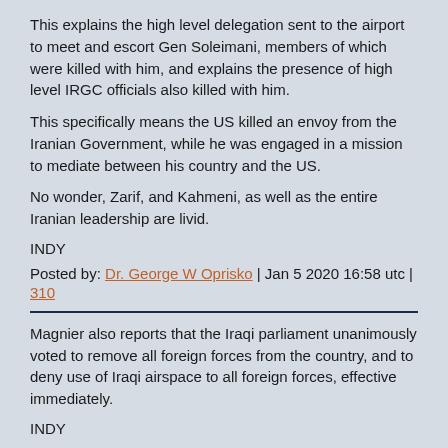This explains the high level delegation sent to the airport to meet and escort Gen Soleimani, members of which were killed with him, and explains the presence of high level IRGC officials also killed with him.
This specifically means the US killed an envoy from the Iranian Government, while he was engaged in a mission to mediate between his country and the US.
No wonder, Zarif, and Kahmeni, as well as the entire Iranian leadership are livid.
INDY
Posted by: Dr. George W Oprisko | Jan 5 2020 16:58 utc | 310
Magnier also reports that the Iraqi parliament unanimously voted to remove all foreign forces from the country, and to deny use of Iraqi airspace to all foreign forces, effective immediately.
INDY
Posted by: Dr. George W Oprisko | Jan 5 2020 17:02 utc | 311